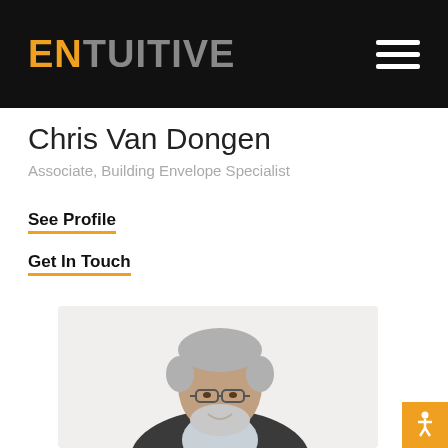ENTUITIVE
Chris Van Dongen
Associate, Building Envelope Specialist
See Profile
Get In Touch
[Figure (photo): Professional headshot of Chris Van Dongen, a middle-aged man with salt-and-pepper hair and beard, wearing glasses and a dark blazer over a light shirt, smiling against a white background.]